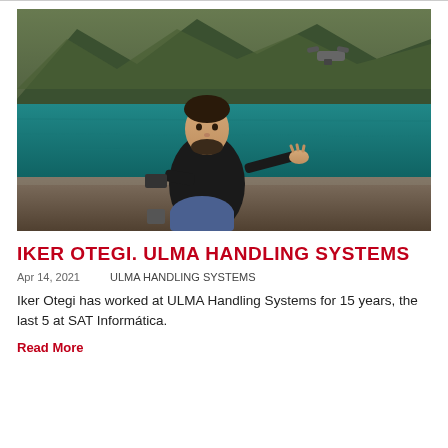[Figure (photo): Man sitting by a lake with forested mountains in background, holding a drone controller and gesturing toward a drone flying in the air]
IKER OTEGI. ULMA HANDLING SYSTEMS
Apr 14, 2021    ULMA HANDLING SYSTEMS
Iker Otegi has worked at ULMA Handling Systems for 15 years, the last 5 at SAT Informática.
Read More